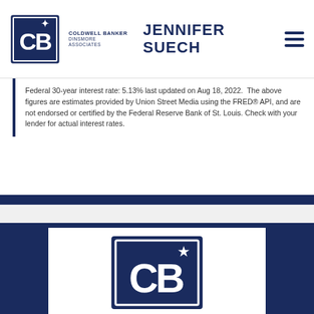[Figure (logo): Coldwell Banker Dinsmore Associates logo with CB monogram in dark blue square, and agent name JENNIFER SUECH in bold navy text]
Federal 30-year interest rate: 5.13% last updated on Aug 18, 2022. The above figures are estimates provided by Union Street Media using the FRED® API, and are not endorsed or certified by the Federal Reserve Bank of St. Louis. Check with your lender for actual interest rates.
[Figure (logo): Coldwell Banker CB monogram logo in large white-on-dark-blue square, displayed in white card on dark navy background footer]